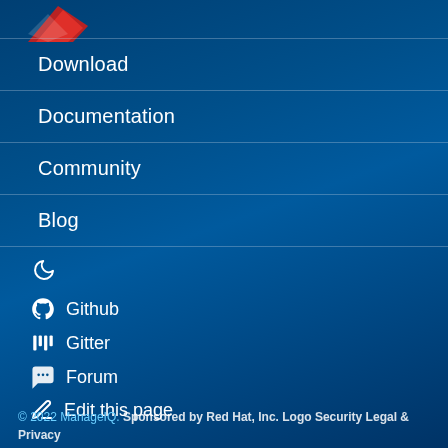[Figure (logo): ManageIQ logo - red bird/figure on dark blue background, partially cropped]
Download
Documentation
Community
Blog
🌙 (dark mode toggle)
Github
Gitter
Forum
Edit this page
© 2022 ManageIQ. Sponsored by Red Hat, Inc. Logo Security Legal & Privacy